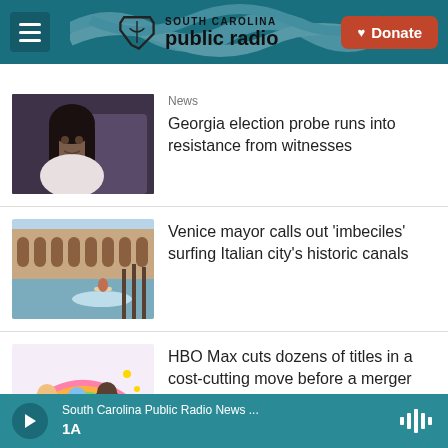South Carolina Public Radio | Donate
[Figure (screenshot): News article thumbnail: woman in white top against dark background]
News
Georgia election probe runs into resistance from witnesses
[Figure (screenshot): News article thumbnail: person surfing on Venice canal with historic buildings in background]
Venice mayor calls out 'imbeciles' surfing Italian city's historic canals
[Figure (screenshot): News article thumbnail: cartoon/animated characters]
HBO Max cuts dozens of titles in a cost-cutting move before a merger
South Carolina Public Radio News ... | 1A